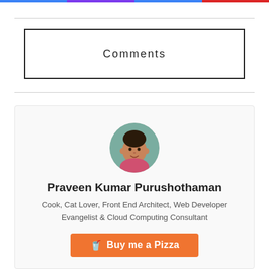Comments
[Figure (photo): Circular avatar photo of Praveen Kumar Purushothaman]
Praveen Kumar Purushothaman
Cook, Cat Lover, Front End Architect, Web Developer Evangelist & Cloud Computing Consultant
Buy me a Pizza